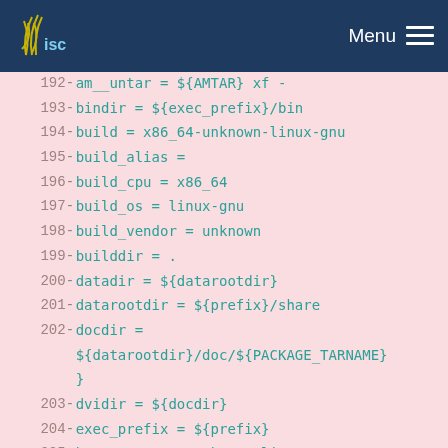ISC - Menu
192   - am__untar = ${AMTAR} xf -
193   - bindir = ${exec_prefix}/bin
194   - build = x86_64-unknown-linux-gnu
195   - build_alias =
196   - build_cpu = x86_64
197   - build_os = linux-gnu
198   - build_vendor = unknown
199   - builddir = .
200   - datadir = ${datarootdir}
201   - datarootdir = ${prefix}/share
202   - docdir = ${datarootdir}/doc/${PACKAGE_TARNAME}
           }
203   - dvidir = ${docdir}
204   - exec_prefix = ${prefix}
205   - host = x86_64-unknown-linux-gnu
206   - host_alias =
207   - host_cpu = x86_64
208   - host_os = linux-gnu
209   - host_vendor = unknown
210   - htmldir = ${docdir}